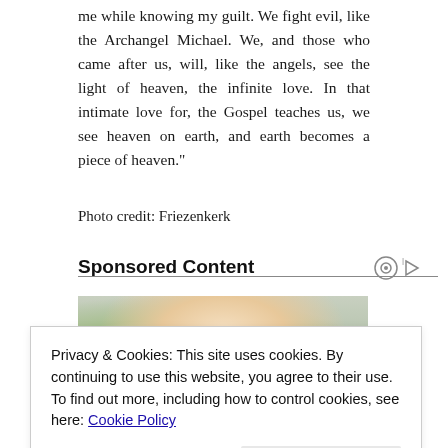me while knowing my guilt. We fight evil, like the Archangel Michael. We, and those who came after us, will, like the angels, see the light of heaven, the infinite love. In that intimate love for, the Gospel teaches us, we see heaven on earth, and earth becomes a piece of heaven.”
Photo credit: Friezenkerk
Sponsored Content
[Figure (photo): Blonde woman with eyes closed, green plant in background, photo partially visible]
Privacy & Cookies: This site uses cookies. By continuing to use this website, you agree to their use.
To find out more, including how to control cookies, see here: Cookie Policy
Close and accept